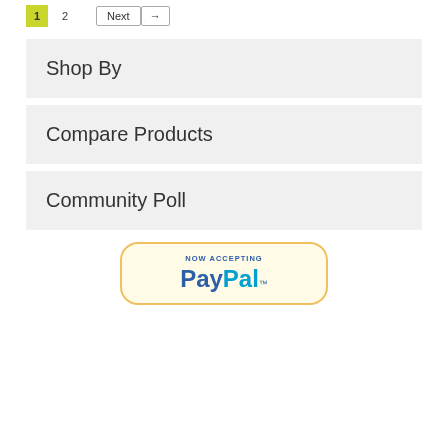1  2  Next →
Shop By
Compare Products
Community Poll
[Figure (logo): NOW ACCEPTING PayPal badge with rounded rectangle border in cream/yellow color]